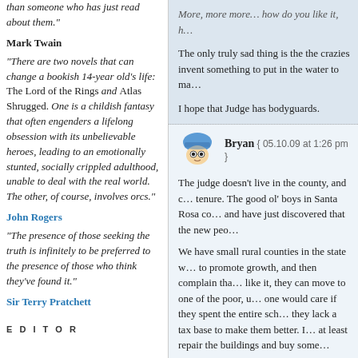than someone who has just read about them."
Mark Twain
"There are two novels that can change a bookish 14-year old’s life: The Lord of the Rings and Atlas Shrugged. One is a childish fantasy that often engenders a lifelong obsession with its unbelievable heroes, leading to an emotionally stunted, socially crippled adulthood, unable to deal with the real world. The other, of course, involves orcs."
John Rogers
"The presence of those seeking the truth is infinitely to be preferred to the presence of those who think they’ve found it."
Sir Terry Pratchett
EDITOR
More, more more… how do you like it, h…
The only truly sad thing is the the crazies invent something to put in the water to ma…
I hope that Judge has bodyguards.
Bryan { 05.10.09 at 1:26 pm }
The judge doesn’t live in the county, and c… tenure. The good ol’ boys in Santa Rosa co… and have just discovered that the new peo…
We have small rural counties in the state w… to promote growth, and then complain tha… like it, they can move to one of the poor, u… one would care if they spent the entire sch… they lack a tax base to make them better. I… at least repair the buildings and buy some…